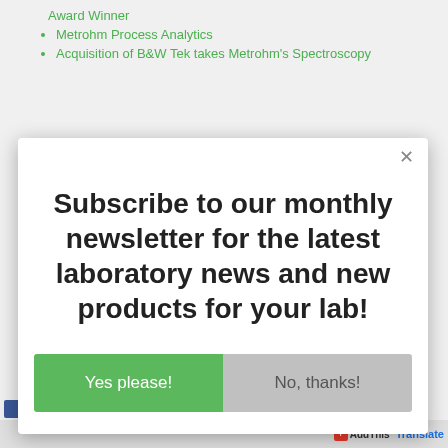Award Winner
Metrohm Process Analytics
Acquisition of B&W Tek takes Metrohm's Spectroscopy
Subscribe to our monthly newsletter for the latest laboratory news and new products for your lab!
Yes please!
No, thanks!